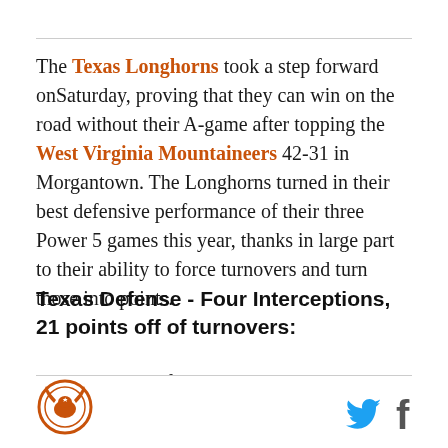The Texas Longhorns took a step forward onSaturday, proving that they can win on the road without their A-game after topping the West Virginia Mountaineers 42-31 in Morgantown. The Longhorns turned in their best defensive performance of their three Power 5 games this year, thanks in large part to their ability to force turnovers and turn those into points.
Texas Defense - Four Interceptions, 21 points off of turnovers:
There are still a few questions in the secondary, but the Longhorns at least proved that they have playmakers
[Figure (logo): Burnt orange circular logo with a longhorn silhouette in center]
[Figure (logo): Twitter bird icon in blue and Facebook f icon]